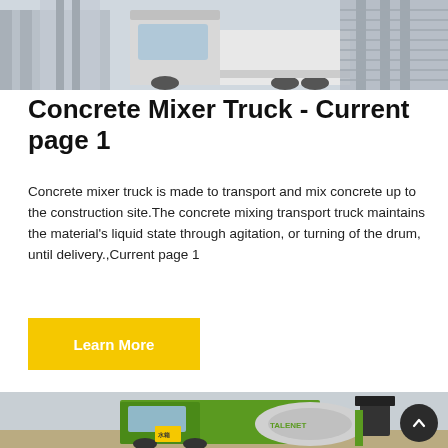[Figure (photo): Concrete mixer truck parked near a building structure; grey industrial background with a white truck.]
Concrete Mixer Truck - Current page 1
Concrete mixer truck is made to transport and mix concrete up to the construction site.The concrete mixing transport truck maintains the material's liquid state through agitation, or turning of the drum, until delivery.,Current page 1
[Figure (other): Yellow Learn More button]
[Figure (photo): Green Talenet brand self-loading concrete mixer machine on sandy ground with cloudy sky background. A dark circular scroll-to-top button is visible in the bottom right corner.]